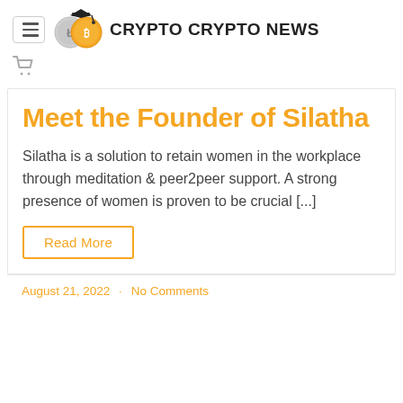CRYPTO CRYPTO NEWS
Meet the Founder of Silatha
Silatha is a solution to retain women in the workplace through meditation & peer2peer support. A strong presence of women is proven to be crucial [...]
Read More
August 21, 2022 · No Comments